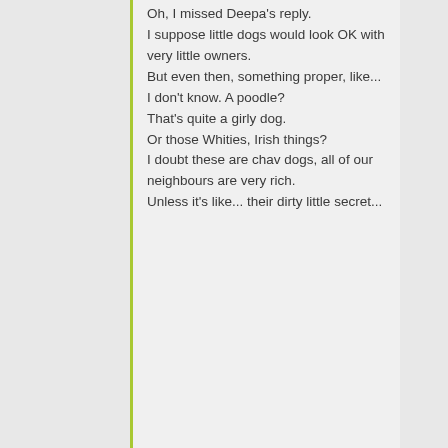Oh, I missed Deepa's reply. I suppose little dogs would look OK with very little owners. But even then, something proper, like... I don't know. A poodle? That's quite a girly dog. Or those Whities, Irish things? I doubt these are chav dogs, all of our neighbours are very rich. Unless it's like... their dirty little secret...